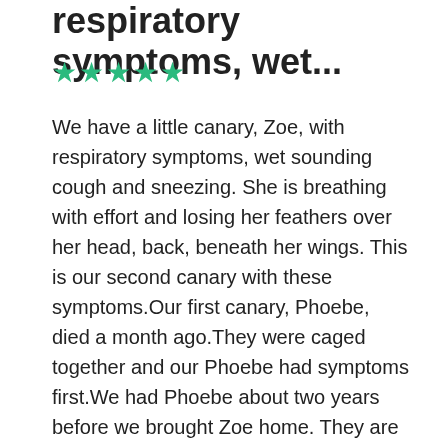respiratory symptoms, wet...
★★★★★
We have a little canary, Zoe, with respiratory symptoms, wet sounding cough and sneezing. She is breathing with effort and losing her feathers over her head, back, beneath her wings. This is our second canary with these symptoms.Our first canary, Phoebe, died a month ago.They were caged together and our Phoebe had symptoms first.We had Phoebe about two years before we brought Zoe home. They are from different breeders. Phoebe first started to lose all her feathers and had a large growth under her bill/chin area. We took her to our avian vets several times for treatment and consultation.They were treated for mites, given Baytril and one vet suggested surgery for the mass. We did not want to subject our little bird to surgery and in the end, before Phoebe died, the mass disappeared, she grew back some of her feathers.In all other ways,they act fine, eat fly bathe nest.Our vet says there is not much